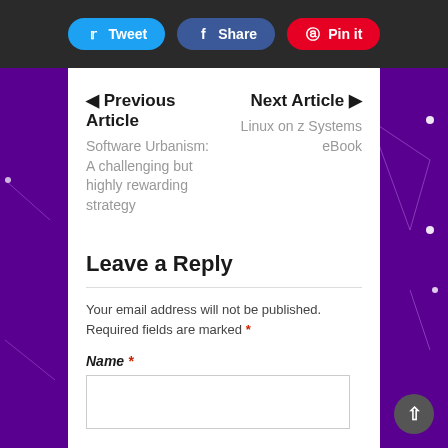Tweet | Share | Pin it
◀ Previous Article
Software Urbanism: A challenging but highly rewarding strategy
Next Article ▶
Linux on z Systems eBook
Leave a Reply
Your email address will not be published. Required fields are marked *
Name *